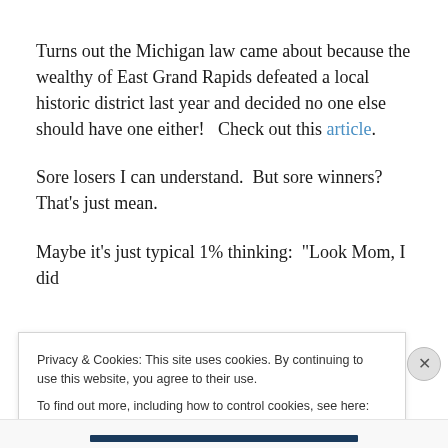Turns out the Michigan law came about because the wealthy of East Grand Rapids defeated a local historic district last year and decided no one else should have one either!   Check out this article.
Sore losers I can understand.  But sore winners?  That's just mean.
Maybe it's just typical 1% thinking:  "Look Mom, I did
Privacy & Cookies: This site uses cookies. By continuing to use this website, you agree to their use.
To find out more, including how to control cookies, see here: Cookie Policy